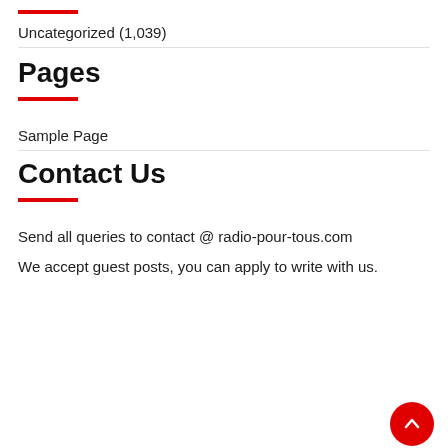Uncategorized (1,039)
Pages
Sample Page
Contact Us
Send all queries to contact @ radio-pour-tous.com
We accept guest posts, you can apply to write with us.